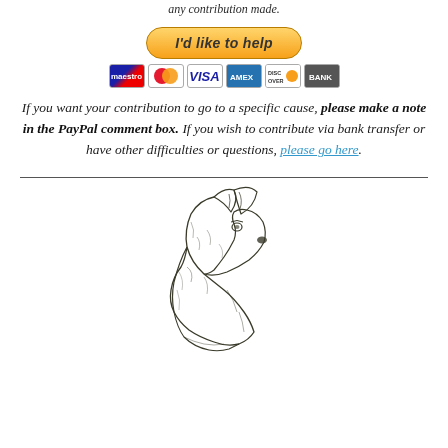any contribution made.
[Figure (other): PayPal 'I'd like to help' button with payment icons (Maestro, MasterCard, Visa, Amex, Discover, Bank)]
If you want your contribution to go to a specific cause, please make a note in the PayPal comment box. If you wish to contribute via bank transfer or have other difficulties or questions, please go here.
[Figure (illustration): Pencil sketch illustration of a German Shepherd dog head in profile, facing right]